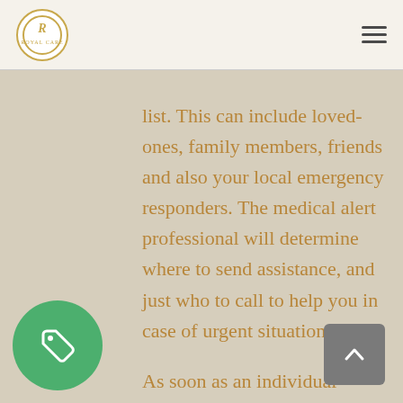Royal Care logo and navigation
list. This can include loved-ones, family members, friends and also your local emergency responders. The medical alert professional will determine where to send assistance, and just who to call to help you in case of urgent situation.
As soon as an individual needs help, or medical care, they simply press on the help button located on the medical alert device. Next, the medical alert agent will be contacted and also communicate